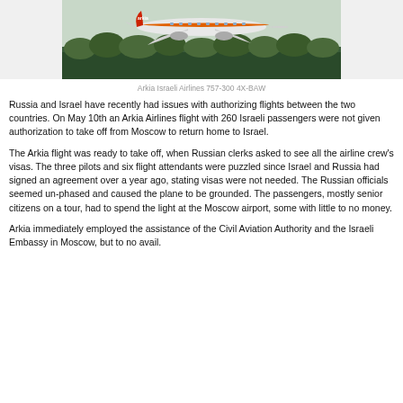[Figure (photo): Arkia Israeli Airlines Boeing 757-300 aircraft with orange stripe livery on a runway, with green trees in background]
Arkia Israeli Airlines 757-300 4X-BAW
Russia and Israel have recently had issues with authorizing flights between the two countries. On May 10th an Arkia Airlines flight with 260 Israeli passengers were not given authorization to take off from Moscow to return home to Israel.
The Arkia flight was ready to take off, when Russian clerks asked to see all the airline crew's visas. The three pilots and six flight attendants were puzzled since Israel and Russia had signed an agreement over a year ago, stating visas were not needed. The Russian officials seemed un-phased and caused the plane to be grounded. The passengers, mostly senior citizens on a tour, had to spend the light at the Moscow airport, some with little to no money.
Arkia immediately employed the assistance of the Civil Aviation Authority and the Israeli Embassy in Moscow, but to no avail.